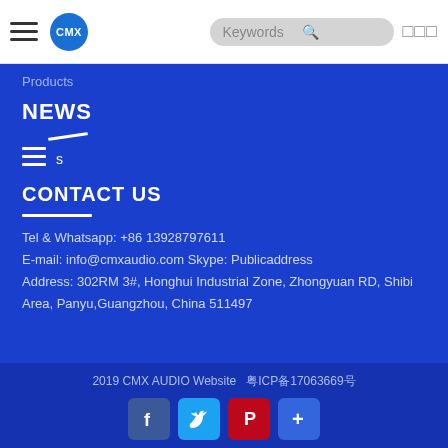CMX [logo] | Keywords search | ☰☰☰
Products
NEWS
[Figure (other): Hamburger menu icon with diagonal line and letter s]
CONTACT US
Tel & Whatsapp: +86 13928797611
E-mail: info@cmxaudio.com Skype: Publicaddress
Address: 302RM 3#, Honghui Industrial Zone, Zhongyuan RD, Shibi Area, Panyu,Guangzhou, China 511497
2019 CMX AUDIO Website  粤ICP备17063669号
[Figure (other): Social media icons: Facebook, Twitter, Pinterest, Plus]